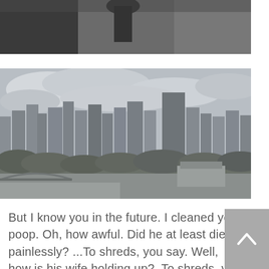[Figure (photo): Top portion of a photo showing a dark, dimly lit indoor or shadowed scene with gray tones]
[Figure (photo): Black and white HDR cityscape panorama showing a downtown skyline with tall buildings, cloudy sky, trees, and a bridge or stadium in the foreground]
But I know you in the future. I cleaned your poop. Oh, how awful. Did he at least die painlessly? ...To shreds, you say. Well, how is his wife holding up?  To shreds, you say. A sexy